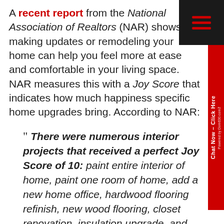A recent report from the National Association of Realtors (NAR) shows making updates or remodeling your home can help you feel more at ease and comfortable in your living space. NAR measures this with a Joy Score that indicates how much happiness specific home upgrades bring. According to NAR:
" There were numerous interior projects that received a perfect Joy Score of 10: paint entire interior of home, paint one room of home, add a new home office, hardwood flooring refinish, new wood flooring, closet renovation, insulation upgrade, and attic conversion to living area."